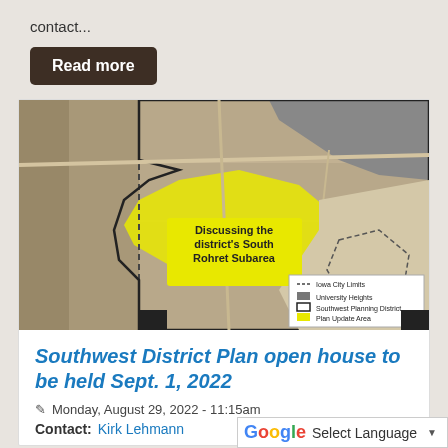contact...
Read more
[Figure (map): Aerial map of Iowa City Southwest Planning District showing South Rohret Subarea highlighted in yellow, with University Heights in gray. Legend shows Iowa City Limits (dashed), University Heights (gray), Southwest Planning District (black outline), Plan Update Area (yellow). Text overlay reads 'Discussing the district's South Rohret Subarea'.]
Southwest District Plan open house to be held Sept. 1, 2022
Monday, August 29, 2022 - 11:15am
Contact: Kirk Lehmann
Select Language